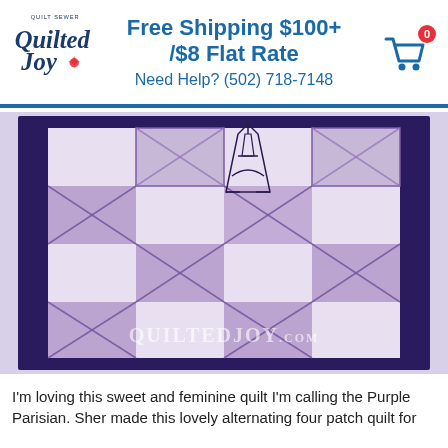Free Shipping $100+ /$8 Flat Rate
Need Help? (502) 718-7148
[Figure (photo): A purple and white quilt with a patchwork four-patch design. The quilt features lavender/purple floral and geometric print fabrics alternating with light background squares. A center panel shows a printed Eiffel Tower. The quilt is bordered in dark navy/purple fabric. A watermark reads QUILTEDJOY.COM in the lower right corner.]
I'm loving this sweet and feminine quilt I'm calling the Purple Parisian. Sher made this lovely alternating four patch quilt for